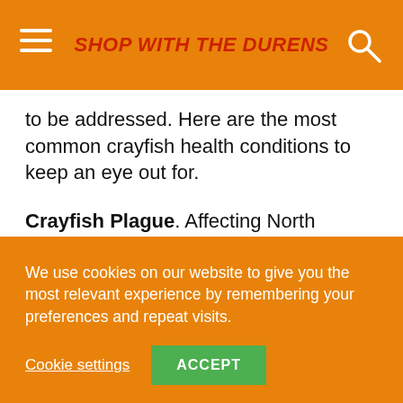SHOP WITH THE DURENS
to be addressed. Here are the most common crayfish health conditions to keep an eye out for.
Crayfish Plague. Affecting North American crayfish species, this disease is caused by a fungus. Signs of illness include whitening on the body, especially on the belly and limbs. They no longer have an aversion to bright light as they normally would, so they may be seen in open water during the middle of the day.
We use cookies on our website to give you the most relevant experience by remembering your preferences and repeat visits.
Cookie settings  ACCEPT